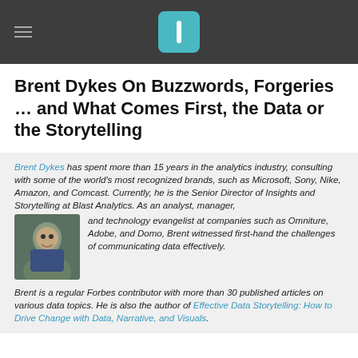Quantified logo header
Brent Dykes On Buzzwords, Forgeries … and What Comes First, the Data or the Storytelling
Brent Dykes has spent more than 15 years in the analytics industry, consulting with some of the world's most recognized brands, such as Microsoft, Sony, Nike, Amazon, and Comcast. Currently, he is the Senior Director of Insights and Storytelling at Blast Analytics. As an analyst, manager, and technology evangelist at companies such as Omniture, Adobe, and Domo, Brent witnessed first-hand the challenges of communicating data effectively.
Brent is a regular Forbes contributor with more than 30 published articles on various data topics. He is also the author of Effective Data Storytelling: How to Drive Change with Data, Narrative, and Visuals.